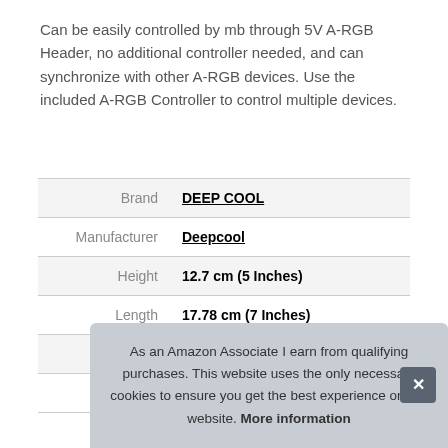Can be easily controlled by mb through 5V A-RGB Header, no additional controller needed, and can synchronize with other A-RGB devices. Use the included A-RGB Controller to control multiple devices.
|  |  |
| --- | --- |
| Brand | DEEP COOL |
| Manufacturer | Deepcool |
| Height | 12.7 cm (5 Inches) |
| Length | 17.78 cm (7 Inches) |
| Weight | 0.51 kg (1.12 Pounds) |
| P |  |
As an Amazon Associate I earn from qualifying purchases. This website uses the only necessary cookies to ensure you get the best experience on our website. More information